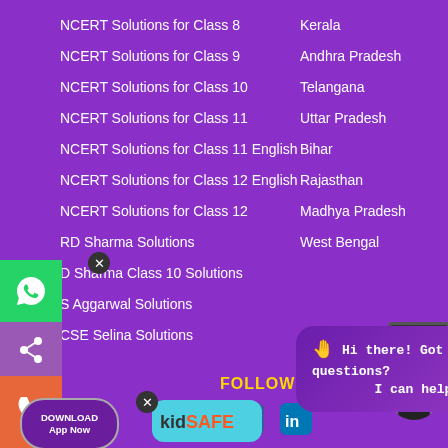NCERT Solutions for Class 8
NCERT Solutions for Class 9
NCERT Solutions for Class 10
NCERT Solutions for Class 11
NCERT Solutions for Class 11 English
NCERT Solutions for Class 12 English
NCERT Solutions for Class 12
RD Sharma Solutions
D Sharma Class 10 Solutions
S Aggarwal Solutions
CSE Selina Solutions
Kerala
Andhra Pradesh
Telangana
Uttar Pradesh
Bihar
Rajasthan
Madhya Pradesh
West Bengal
FOLLOW US
[Figure (screenshot): Chat widget with text: Hi there! Got any questions? I can help you...]
[Figure (logo): kidSAFE badge logo]
[Figure (photo): Avatar photo of a person in suit]